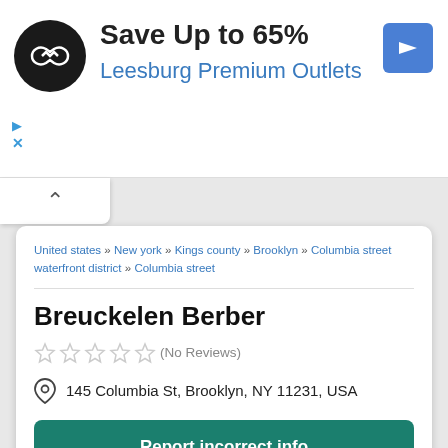[Figure (screenshot): Advertisement banner for Leesburg Premium Outlets with circular black logo, navigation arrow icon, text 'Save Up to 65%' and 'Leesburg Premium Outlets' in blue]
United states » New york » Kings county » Brooklyn » Columbia street waterfront district » Columbia street
Breuckelen Berber
(No Reviews)
145 Columbia St, Brooklyn, NY 11231, USA
Report incorrect info
Share